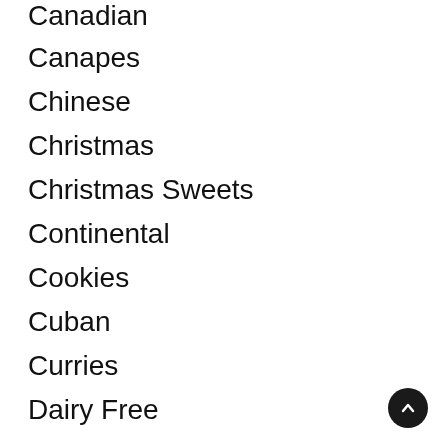Canadian
Canapes
Chinese
Christmas
Christmas Sweets
Continental
Cookies
Cuban
Curries
Dairy Free